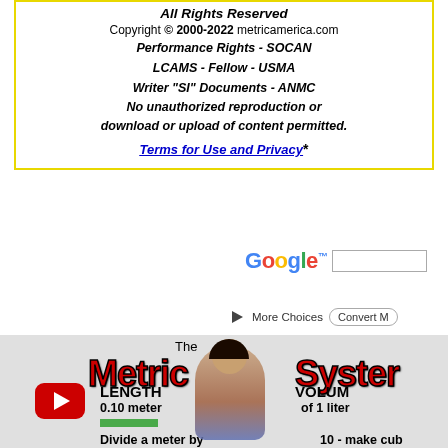All Rights Reserved
Copyright © 2000-2022 metricamerica.com
Performance Rights - SOCAN
LCAMS - Fellow - USMA
Writer "SI" Documents - ANMC
No unauthorized reproduction or download or upload of content permitted.
Terms for Use and Privacy*
[Figure (screenshot): Google search bar with logo and input field]
[Figure (screenshot): More Choices button with play icon, and Convert M button]
[Figure (photo): YouTube video thumbnail for 'The Metric System' showing a woman holding a meter stick, LENGTH 0.10 meter with green bar, VOLUME of 1 liter, Divide a meter by 10 make cub...]